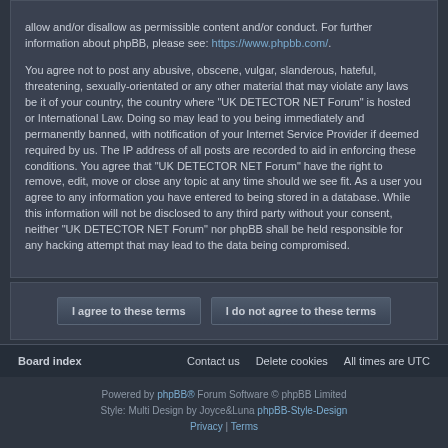allow and/or disallow as permissible content and/or conduct. For further information about phpBB, please see: https://www.phpbb.com/.
You agree not to post any abusive, obscene, vulgar, slanderous, hateful, threatening, sexually-orientated or any other material that may violate any laws be it of your country, the country where "UK DETECTOR NET Forum" is hosted or International Law. Doing so may lead to you being immediately and permanently banned, with notification of your Internet Service Provider if deemed required by us. The IP address of all posts are recorded to aid in enforcing these conditions. You agree that "UK DETECTOR NET Forum" have the right to remove, edit, move or close any topic at any time should we see fit. As a user you agree to any information you have entered to being stored in a database. While this information will not be disclosed to any third party without your consent, neither "UK DETECTOR NET Forum" nor phpBB shall be held responsible for any hacking attempt that may lead to the data being compromised.
I agree to these terms | I do not agree to these terms
Board index   Contact us   Delete cookies   All times are UTC
Powered by phpBB® Forum Software © phpBB Limited
Style: Multi Design by Joyce&Luna phpBB-Style-Design
Privacy | Terms